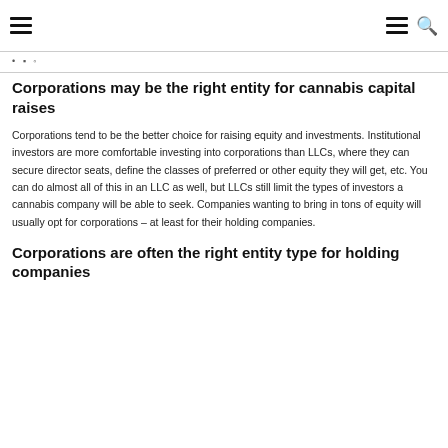Navigation bar with hamburger menu and search icon
breadcrumb navigation
Corporations may be the right entity for cannabis capital raises
Corporations tend to be the better choice for raising equity and investments. Institutional investors are more comfortable investing into corporations than LLCs, where they can secure director seats, define the classes of preferred or other equity they will get, etc. You can do almost all of this in an LLC as well, but LLCs still limit the types of investors a cannabis company will be able to seek. Companies wanting to bring in tons of equity will usually opt for corporations – at least for their holding companies.
Corporations are often the right entity type for holding companies